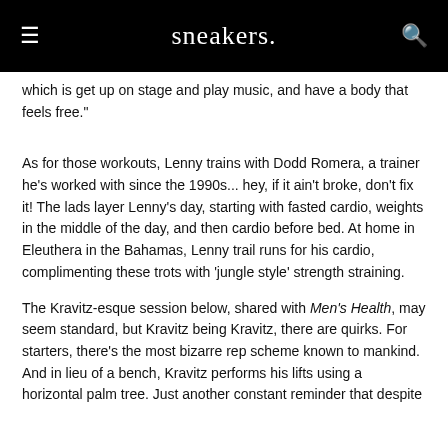sneakers.
which is get up on stage and play music, and have a body that feels free."
As for those workouts, Lenny trains with Dodd Romera, a trainer he's worked with since the 1990s... hey, if it ain't broke, don't fix it! The lads layer Lenny's day, starting with fasted cardio, weights in the middle of the day, and then cardio before bed. At home in Eleuthera in the Bahamas, Lenny trail runs for his cardio, complimenting these trots with 'jungle style' strength straining.
The Kravitz-esque session below, shared with Men's Health, may seem standard, but Kravitz being Kravitz, there are quirks. For starters, there's the most bizarre rep scheme known to mankind. And in lieu of a bench, Kravitz performs his lifts using a horizontal palm tree. Just another constant reminder that despite